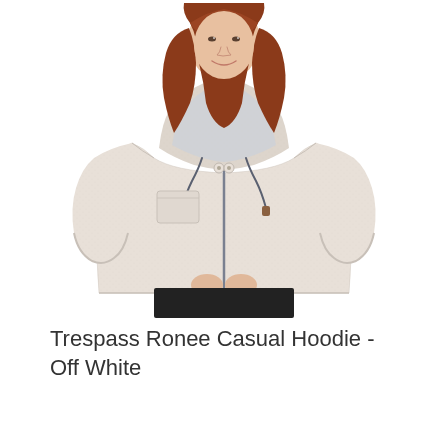[Figure (photo): A woman with long red hair wearing a cream/off-white zip-up hoodie with a hood, dark drawstrings, and a chest pocket. She is smiling and standing against a white background. The hoodie is the Trespass Ronee Casual Hoodie in Off White.]
Trespass Ronee Casual Hoodie - Off White